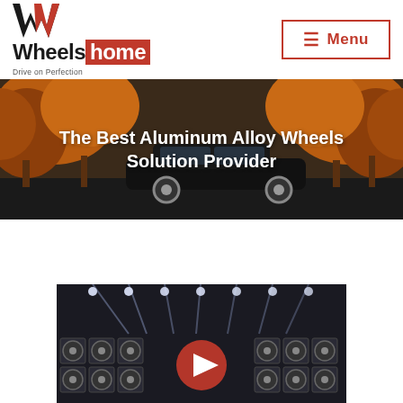[Figure (logo): Wheelshome logo with W icon in black and red, text 'Wheels home', tagline 'Drive on Perfection']
[Figure (other): Menu button with hamburger icon, red border, text 'Menu']
[Figure (photo): Hero banner showing a black car on an autumn road with orange foliage]
The Best Aluminum Alloy Wheels Solution Provider
[Figure (screenshot): Video thumbnail showing a showroom with alloy wheels displayed on walls, red play button overlay, spotlights in ceiling]